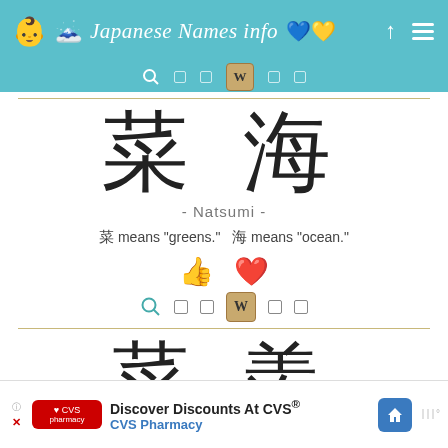Japanese Names info
菜 海
- Natsumi -
菜 means "greens."  海 means "ocean."
[Figure (infographic): Thumbs up icon and heart icon for rating]
[Figure (infographic): Search and Wikipedia icon row]
菜 羡
[Figure (infographic): CVS Pharmacy advertisement banner]